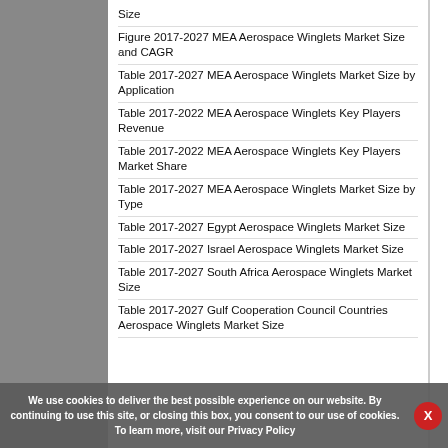Size
Figure 2017-2027 MEA Aerospace Winglets Market Size and CAGR
Table 2017-2027 MEA Aerospace Winglets Market Size by Application
Table 2017-2022 MEA Aerospace Winglets Key Players Revenue
Table 2017-2022 MEA Aerospace Winglets Key Players Market Share
Table 2017-2027 MEA Aerospace Winglets Market Size by Type
Table 2017-2027 Egypt Aerospace Winglets Market Size
Table 2017-2027 Israel Aerospace Winglets Market Size
Table 2017-2027 South Africa Aerospace Winglets Market Size
Table 2017-2027 Gulf Cooperation Council Countries Aerospace Winglets Market Size
We use cookies to deliver the best possible experience on our website. By continuing to use this site, or closing this box, you consent to our use of cookies. To learn more, visit our Privacy Policy